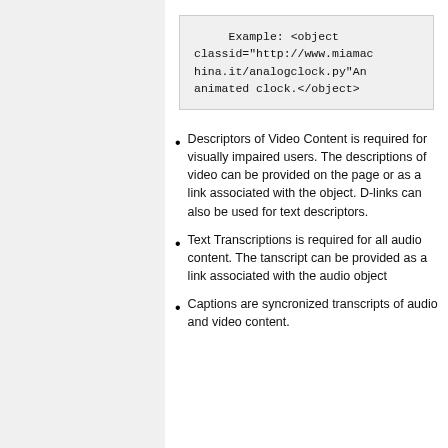Example: <object classid="http://www.miamachina.it/analogclock.py"An animated clock.</object>
Descriptors of Video Content is required for visually impaired users. The descriptions of video can be provided on the page or as a link associated with the object. D-links can also be used for text descriptors.
Text Transcriptions is required for all audio content. The tanscript can be provided as a link associated with the audio object
Captions are syncronized transcripts of audio and video content.